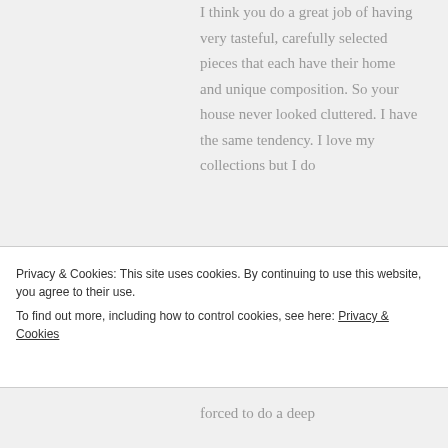I think you do a great job of having very tasteful, carefully selected pieces that each have their home and unique composition. So your house never looked cluttered. I have the same tendency. I love my collections but I do
Privacy & Cookies: This site uses cookies. By continuing to use this website, you agree to their use.
To find out more, including how to control cookies, see here: Privacy & Cookies
Close and accept
forced to do a deep